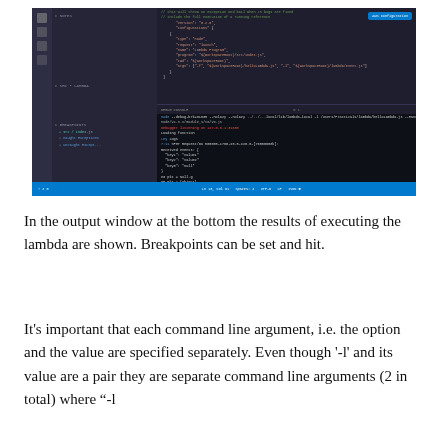[Figure (screenshot): VS Code editor screenshot showing a launch.json configuration file in the editor and a debug terminal at the bottom with AWS Lambda execution output. The sidebar shows a file explorer. A blue 'AWS Configuration' button is visible in the top-right of the editor. The status bar at bottom shows debugger info.]
In the output window at the bottom the results of executing the lambda are shown. Breakpoints can be set and hit.
It's important that each command line argument, i.e. the option and the value are specified separately. Even though '-l' and its value are a pair they are separate command line arguments (2 in total) where "-l